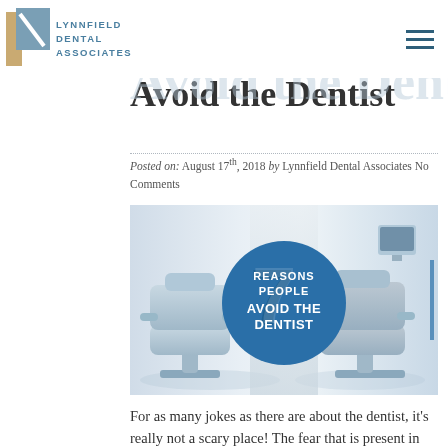LYNNFIELD DENTAL ASSOCIATES
The Top 7 Reasons People Avoid the Dentist
Posted on: August 17th, 2018 by Lynnfield Dental Associates No Comments
[Figure (photo): Dental office with two dental chairs and equipment; blue circular overlay reads '7 REASONS PEOPLE AVOID THE DENTIST']
For as many jokes as there are about the dentist, it's really not a scary place! The fear that is present in our minds even before we